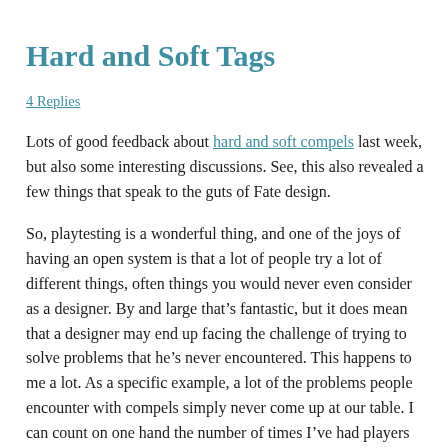Hard and Soft Tags
4 Replies
Lots of good feedback about hard and soft compels last week, but also some interesting discussions. See, this also revealed a few things that speak to the guts of Fate design.
So, playtesting is a wonderful thing, and one of the joys of having an open system is that a lot of people try a lot of different things, often things you would never even consider as a designer. By and large that’s fantastic, but it does mean that a designer may end up facing the challenge of trying to solve problems that he’s never encountered. This happens to me a lot. As a specific example, a lot of the problems people encounter with compels simply never come up at our table. I can count on one hand the number of times I’ve had players